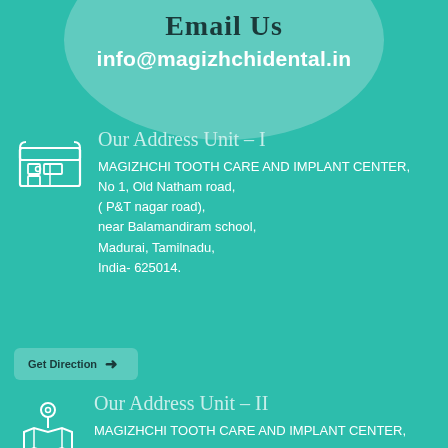Email Us
info@magizhchidental.in
Our Address Unit – I
MAGIZHCHI TOOTH CARE AND IMPLANT CENTER,
No 1, Old Natham road,
( P&T nagar road),
near Balamandiram school,
Madurai, Tamilnadu,
India- 625014.
Get Direction →
Our Address Unit – II
MAGIZHCHI TOOTH CARE AND IMPLANT CENTER,